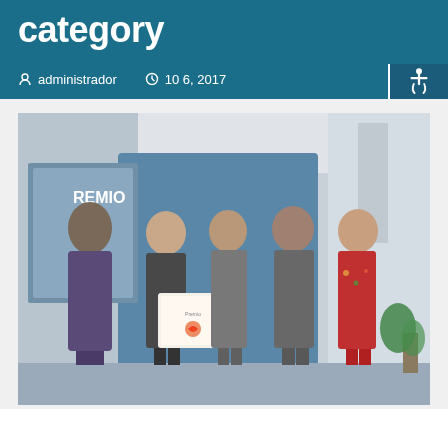category
administrador   10  6, 2017
[Figure (photo): Group photo of five people at an award ceremony. One woman is holding a certificate/award plaque with a heart logo. They are standing in front of a blue backdrop. The sign 'REMIO' is partially visible in the background. The setting appears to be an indoor venue with modern architecture.]